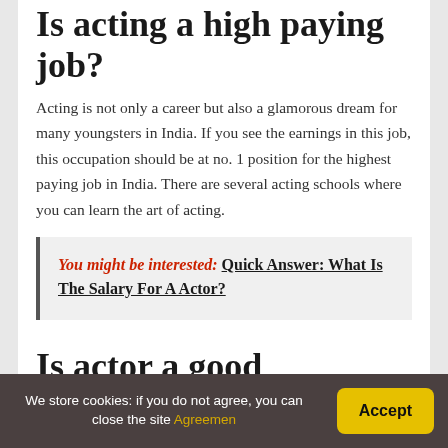Is acting a high paying job?
Acting is not only a career but also a glamorous dream for many youngsters in India. If you see the earnings in this job, this occupation should be at no. 1 position for the highest paying job in India. There are several acting schools where you can learn the art of acting.
You might be interested: Quick Answer: What Is The Salary For A Actor?
Is actor a good
We store cookies: if you do not agree, you can close the site Agreemen